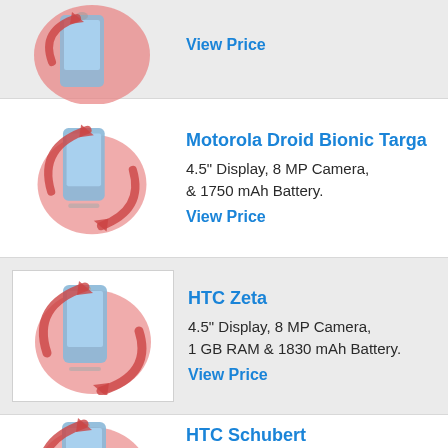[Figure (illustration): Partial phone icon with circular arrow graphic, top of page cut off]
View Price
Motorola Droid Bionic Targa
4.5" Display, 8 MP Camera, & 1750 mAh Battery.
View Price
[Figure (illustration): Phone icon with circular arrow graphic on shaded background with white box]
HTC Zeta
4.5" Display, 8 MP Camera, 1 GB RAM & 1830 mAh Battery.
View Price
[Figure (illustration): Phone icon with circular arrow graphic on white background, partial at bottom]
HTC Schubert
Display, 3 MP Camera, & Battery.
View Price